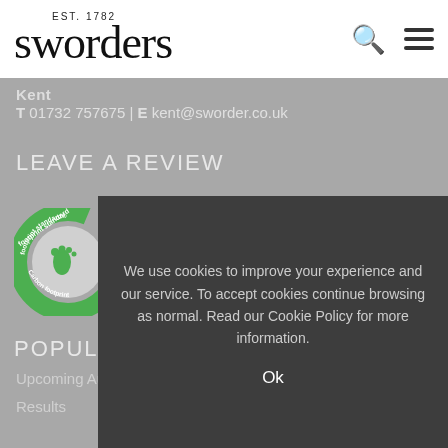EST. 1782 sworders
Kent
T 01732 757675 | E kent@sworder.co.uk
LEAVE A REVIEW
[Figure (logo): Carbon Footprint Standard certified badge with green C shape and footprint icon, alongside CO2e Assessed Organisation text in green]
[Figure (logo): Climate Partner/climate pledge faded logo in background]
POPULAR PAGES
Upcoming Auctions
Results
We use cookies to improve your experience and our service. To accept cookies continue browsing as normal. Read our Cookie Policy for more information.
Ok